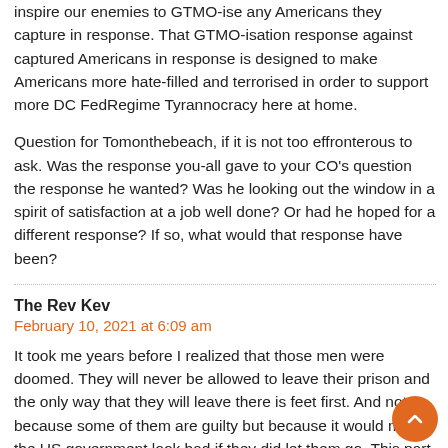inspire our enemies to GTMO-ise any Americans they capture in response. That GTMO-isation response against captured Americans in response is designed to make Americans more hate-filled and terrorised in order to support more DC FedRegime Tyrannocracy here at home.
Question for Tomonthebeach, if it is not too effronterous to ask. Was the response you-all gave to your CO's question the response he wanted? Was he looking out the window in a spirit of satisfaction at a job well done? Or had he hoped for a different response? If so, what would that response have been?
The Rev Kev
February 10, 2021 at 6:09 am
It took me years before I realized that those men were doomed. They will never be allowed to leave their prison and the only way that they will leave there is feet first. And not because some of them are guilty but because it would make the US government look bad if they did let them go. This part of the original plan. One prosecution officer in the early years resigned from the Guantanamo command when he